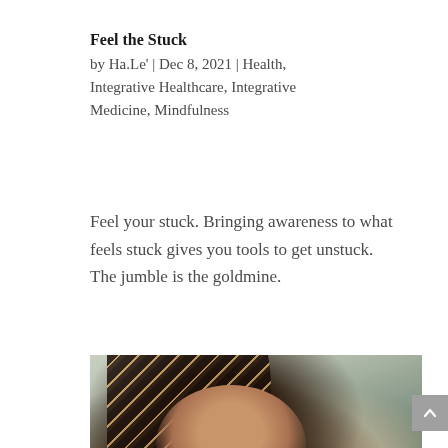Feel the Stuck
by Ha.Le' | Dec 8, 2021 | Health, Integrative Healthcare, Integrative Medicine, Mindfulness
Feel your stuck. Bringing awareness to what feels stuck gives you tools to get unstuck. The jumble is the goldmine.
[Figure (photo): Photo of a young Black woman with long braided hair pulled back, wearing decorative earrings, gesturing with her hand in front of a light green/grey painted brick wall with a pipe.]